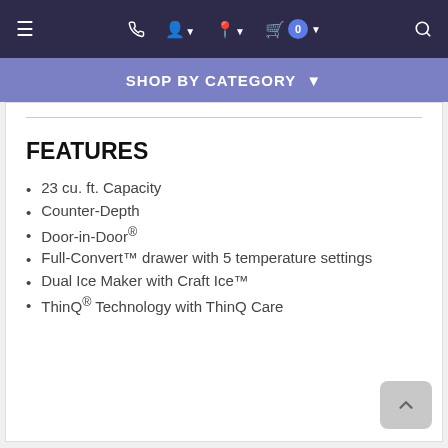≡  ☎  👤▾  📍▾  🛒 0 ▾  🔍
SHOP BY CATEGORY ▾
FEATURES
23 cu. ft. Capacity
Counter-Depth
Door-in-Door®
Full-Convert™ drawer with 5 temperature settings
Dual Ice Maker with Craft Ice™
ThinQ® Technology with ThinQ Care